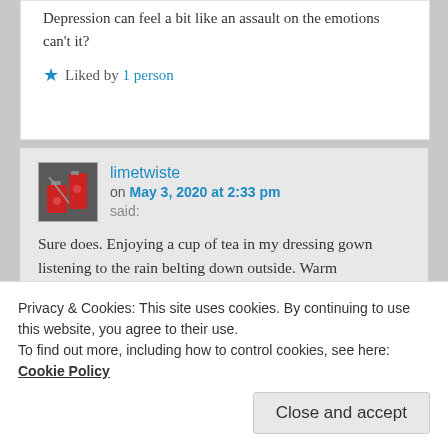Depression can feel a bit like an assault on the emotions can't it?
Liked by 1 person
limetwiste
on May 3, 2020 at 2:33 pm
said:
Sure does. Enjoying a cup of tea in my dressing gown listening to the rain belting down outside. Warm
Privacy & Cookies: This site uses cookies. By continuing to use this website, you agree to their use.
To find out more, including how to control cookies, see here: Cookie Policy